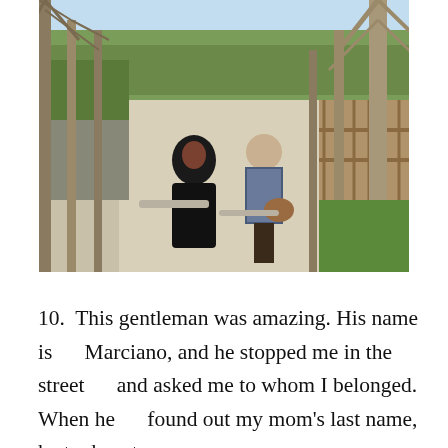[Figure (photo): Two women walking away from the camera down a wide paved path lined with bare-branched tall trees. The woman on the left wears a long black coat, the one on the right wears a striped top and carries a brown bag. A wooden fence is visible on the right side, with a scenic view beyond. Green hedges and landscaping on the left. Blue sky visible through the trees.]
10. This gentleman was amazing. His name is Marciano, and he stopped me in the street and asked me to whom I belonged. When he found out my mom's last name, he took us to